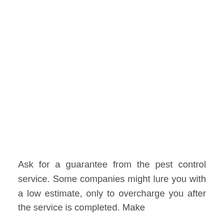Ask for a guarantee from the pest control service. Some companies might lure you with a low estimate, only to overcharge you after the service is completed. Make